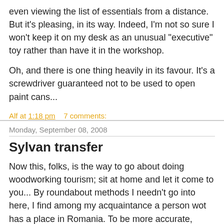even viewing the list of essentials from a distance. But it's pleasing, in its way. Indeed, I'm not so sure I won't keep it on my desk as an unusual "executive" toy rather than have it in the workshop.
Oh, and there is one thing heavily in its favour. It's a screwdriver guaranteed not to be used to open paint cans...
Alf at 1:18 pm    7 comments:
Share
Monday, September 08, 2008
Sylvan transfer
Now this, folks, is the way to go about doing woodworking tourism; sit at home and let it come to you... By roundabout methods I needn't go into here, I find among my acquaintance a person wot has a place in Romania. To be more accurate, Transylvania. Yes, yes, where the vampires come from - you may expect a least one reference to that at some point, unless I can resist. And no, she isn't one. At